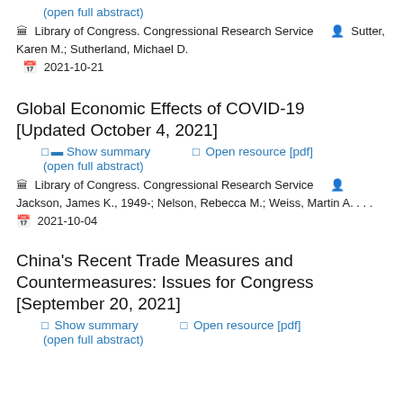(open full abstract)
🏛 Library of Congress. Congressional Research Service    👤 Sutter, Karen M.; Sutherland, Michael D.   📅 2021-10-21
Global Economic Effects of COVID-19 [Updated October 4, 2021]
Show summary   Open resource [pdf]
(open full abstract)
🏛 Library of Congress. Congressional Research Service    👤 Jackson, James K., 1949-; Nelson, Rebecca M.; Weiss, Martin A. . . .    📅 2021-10-04
China's Recent Trade Measures and Countermeasures: Issues for Congress [September 20, 2021]
Show summary   Open resource [pdf]
(open full abstract)